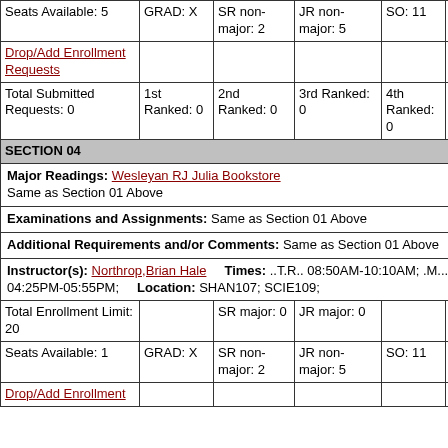| Seats Available: 5 | GRAD: X | SR non-major: 2 | JR non-major: 5 | SO: 11 | FR: 2 |
| Drop/Add Enrollment Requests |  |  |  |  |  |
| Total Submitted Requests: 0 | 1st Ranked: 0 | 2nd Ranked: 0 | 3rd Ranked: 0 | 4th Ranked: 0 | Unranked: 0 |
SECTION 04
Major Readings: Wesleyan RJ Julia Bookstore
Same as Section 01 Above
Examinations and Assignments: Same as Section 01 Above
Additional Requirements and/or Comments: Same as Section 01 Above
Instructor(s): Northrop,Brian Hale   Times: ..T.R.. 08:50AM-10:10AM; .M..... 04:25PM-05:55PM;   Location: SHAN107; SCIE109;
| Total Enrollment Limit: 20 |  | SR major: 0 | JR major: 0 |  |  |
| Seats Available: 1 | GRAD: X | SR non-major: 2 | JR non-major: 5 | SO: 11 | FR: 2 |
| Drop/Add Enrollment |  |  |  |  |  |